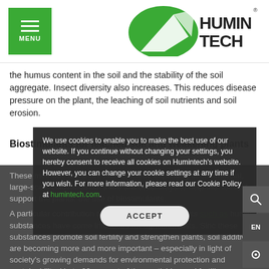[Figure (logo): Humintech logo with green leaf graphic and bold HUMIN TECH text]
the humus content in the soil and the stability of the soil aggregate. Insect diversity also increases. This reduces disease pressure on the plant, the leaching of soil nutrients and soil erosion.
Biostimulants for leached soil and weakening plants
These methods alone are not sufficient, especially in commercial, large-scale cultivation but there are other ways to help the soil and support the plants: the use of biostimulants.
A particular contribution to the fact that biostimulants such as humic substances have come into focus for agriculturalists. Since these substances promote soil fertility and strengthen plants, soil additives are becoming more and more important – especially in light of society's growing demands for environmental protection and sustainability. Up to 60 percent of the pesticides and fertilisers...
We use cookies to enable you to make the best use of our website. If you continue without changing your settings, you hereby consent to receive all cookies on Humintech's website. However, you can change your cookie settings at any time if you wish. For more information, please read our Cookie Policy at humintech.com.